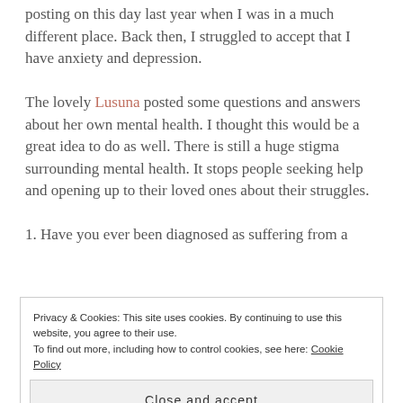posting on this day last year when I was in a much different place. Back then, I struggled to accept that I have anxiety and depression.
The lovely Lusuna posted some questions and answers about her own mental health. I thought this would be a great idea to do as well. There is still a huge stigma surrounding mental health. It stops people seeking help and opening up to their loved ones about their struggles.
1. Have you ever been diagnosed as suffering from a
Privacy & Cookies: This site uses cookies. By continuing to use this website, you agree to their use.
To find out more, including how to control cookies, see here: Cookie Policy
Close and accept
suffered from one?